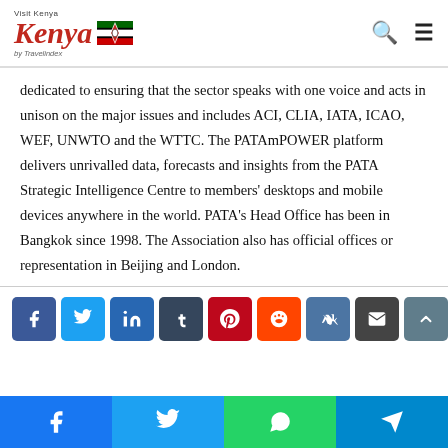Visit Kenya by Travelindex
dedicated to ensuring that the sector speaks with one voice and acts in unison on the major issues and includes ACI, CLIA, IATA, ICAO, WEF, UNWTO and the WTTC. The PATAmPOWER platform delivers unrivalled data, forecasts and insights from the PATA Strategic Intelligence Centre to members' desktops and mobile devices anywhere in the world. PATA's Head Office has been in Bangkok since 1998. The Association also has official offices or representation in Beijing and London.
[Figure (other): Social media share buttons: Facebook, Twitter, LinkedIn, Tumblr, Pinterest, Reddit, VK, Email, scroll-to-top]